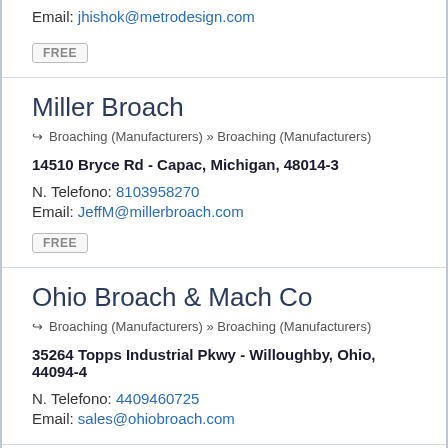Email: jhishok@metrodesign.com
FREE
Miller Broach
Broaching (Manufacturers) » Broaching (Manufacturers)
14510 Bryce Rd - Capac, Michigan, 48014-3
N. Telefono: 8103958270
Email: JeffM@millerbroach.com
FREE
Ohio Broach & Mach Co
Broaching (Manufacturers) » Broaching (Manufacturers)
35264 Topps Industrial Pkwy - Willoughby, Ohio, 44094-4
N. Telefono: 4409460725
Email: sales@ohiobroach.com